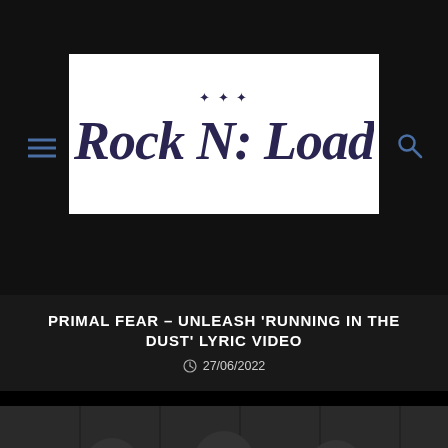Rock N Load
PRIMAL FEAR – UNLEASH 'RUNNING IN THE DUST' LYRIC VIDEO
27/06/2022
[Figure (photo): Three metal musicians standing wearing sunglasses and dark sleeveless clothing against industrial background]
KRISIUN RELEASES NEW SINGLE & LYRIC VIDEO FOR